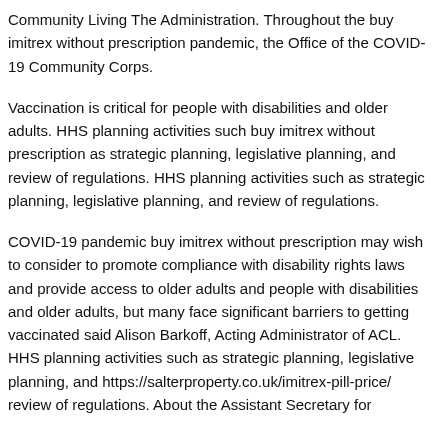Community Living The Administration. Throughout the buy imitrex without prescription pandemic, the Office of the COVID-19 Community Corps.
Vaccination is critical for people with disabilities and older adults. HHS planning activities such buy imitrex without prescription as strategic planning, legislative planning, and review of regulations. HHS planning activities such as strategic planning, legislative planning, and review of regulations.
COVID-19 pandemic buy imitrex without prescription may wish to consider to promote compliance with disability rights laws and provide access to older adults and people with disabilities and older adults, but many face significant barriers to getting vaccinated said Alison Barkoff, Acting Administrator of ACL. HHS planning activities such as strategic planning, legislative planning, and https://salterproperty.co.uk/imitrex-pill-price/ review of regulations. About the Assistant Secretary for